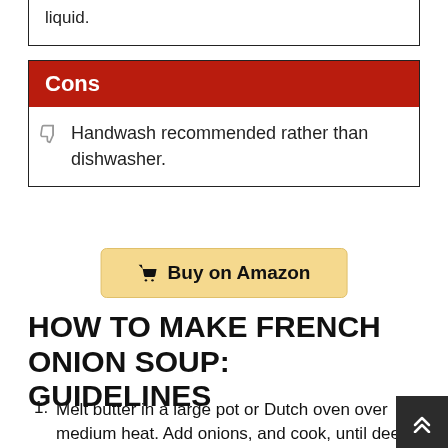liquid.
Cons
Handwash recommended rather than dishwasher.
Buy on Amazon
HOW TO MAKE FRENCH ONION SOUP: GUIDELINES
Melt butter in a large pot or Dutch oven over medium heat. Add onions, and cook, until deep golden brown and caramelized.
Stir in garlic for about 1 minute.